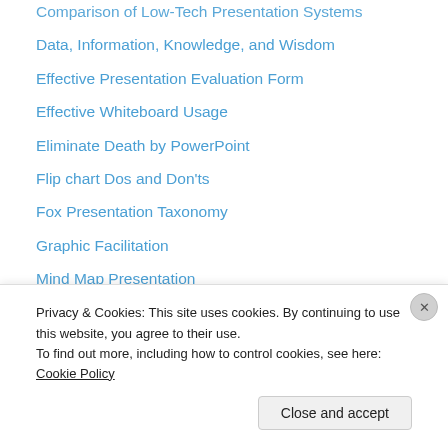Comparison of Low-Tech Presentation Systems
Data, Information, Knowledge, and Wisdom
Effective Presentation Evaluation Form
Effective Whiteboard Usage
Eliminate Death by PowerPoint
Flip chart Dos and Don'ts
Fox Presentation Taxonomy
Graphic Facilitation
Mind Map Presentation
Post-it Notes Presentations
Poster Presentation
PowerPoint Design
PowerPoint Do's and Don'ts: Models of Communication Analysis
PowerPoint Terms
Privacy & Cookies: This site uses cookies. By continuing to use this website, you agree to their use.
To find out more, including how to control cookies, see here: Cookie Policy